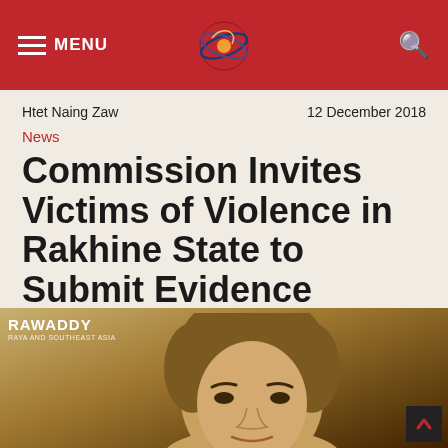MENU [logo] [search]
Htet Naing Zaw | 12 December 2018
News
Commission Invites Victims of Violence in Rakhine State to Submit Evidence
[Figure (photo): Close-up photo of a woman with short brown hair, partially cropped, with Irrawaddy watermark in top-left corner.]